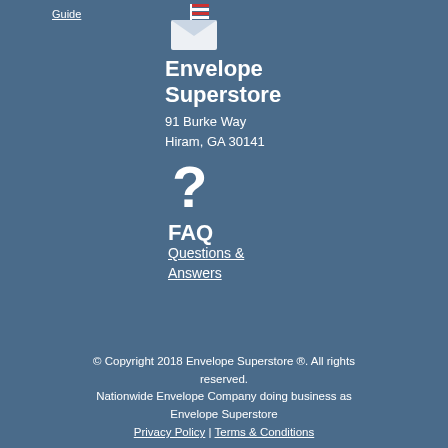Guide
[Figure (logo): Envelope Superstore logo icon with envelope and flag design]
Envelope Superstore
91 Burke Way
Hiram, GA 30141
[Figure (illustration): Large white question mark icon for FAQ section]
FAQ
Questions & Answers
© Copyright 2018 Envelope Superstore ®. All rights reserved.
Nationwide Envelope Company doing business as Envelope Superstore
Privacy Policy | Terms & Conditions